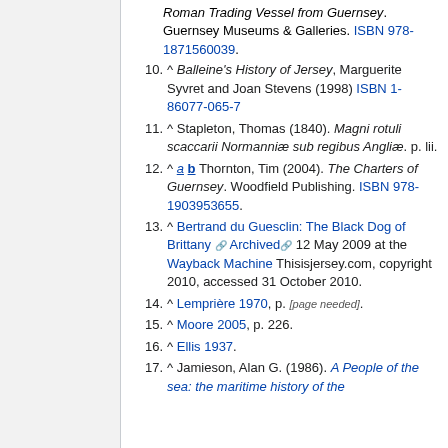Roman Trading Vessel from Guernsey. Guernsey Museums & Galleries. ISBN 978-1871560039.
10. ^ Balleine's History of Jersey, Marguerite Syvret and Joan Stevens (1998) ISBN 1-86077-065-7
11. ^ Stapleton, Thomas (1840). Magni rotuli scaccarii Normanniæ sub regibus Angliæ. p. lii.
12. ^ a b Thornton, Tim (2004). The Charters of Guernsey. Woodfield Publishing. ISBN 978-1903953655.
13. ^ Bertrand du Guesclin: The Black Dog of Brittany Archived 12 May 2009 at the Wayback Machine Thisisjersey.com, copyright 2010, accessed 31 October 2010.
14. ^ Lemprière 1970, p. [page needed].
15. ^ Moore 2005, p. 226.
16. ^ Ellis 1937.
17. ^ Jamieson, Alan G. (1986). A People of the sea: the maritime history of the